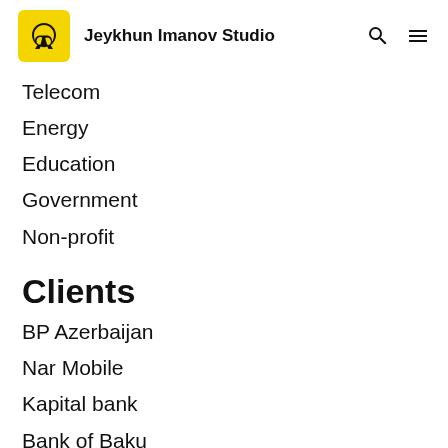Jeykhun Imanov Studio
Telecom
Energy
Education
Government
Non-profit
Clients
BP Azerbaijan
Nar Mobile
Kapital bank
Bank of Baku
R.I.S.K. Company